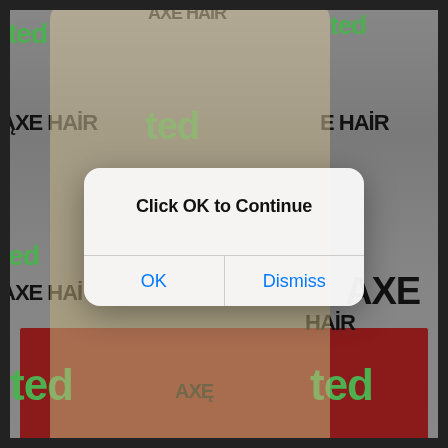[Figure (photo): A woman with long blonde hair in a cream/white fringe dress posing on a red carpet in front of a white step-and-repeat banner with green 'ted' logos and black 'AXE HAIR' logos.]
Click OK to Continue
OK
Dismiss